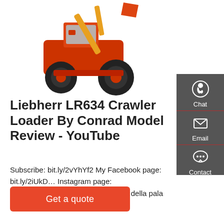[Figure (photo): Orange Liebherr LR634 crawler loader / wheel loader with raised bucket arm, shown on white background]
Liebherr LR634 Crawler Loader By Conrad Model Review - YouTube
Subscribe: bit.ly/2vYhYf2 My Facebook page: bit.ly/2iUkD… Instagram page: https://bit.ly/2BwmRNC Recensione della pala cingolata Liebherr LR 6
[Figure (infographic): Dark grey sidebar with three contact options: Chat (headset icon), Email (envelope icon), Contact (speech bubble icon), separated by red horizontal dividers]